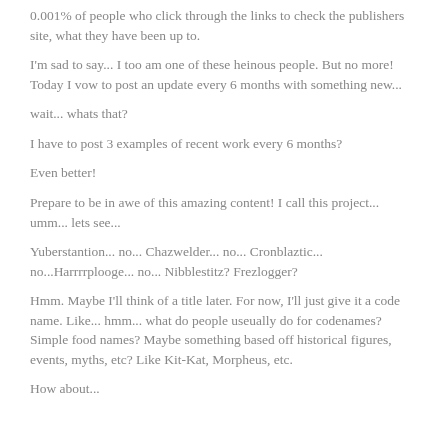0.001% of people who click through the links to check the publishers site, what they have been up to.
I'm sad to say... I too am one of these heinous people. But no more! Today I vow to post an update every 6 months with something new...
wait... whats that?
I have to post 3 examples of recent work every 6 months?
Even better!
Prepare to be in awe of this amazing content! I call this project... umm... lets see...
Yuberstantion... no... Chazwelder... no... Cronblaztic... no...Harrrrplooge... no... Nibblestitz? Frezlogger?
Hmm. Maybe I'll think of a title later. For now, I'll just give it a code name. Like... hmm... what do people useually do for codenames? Simple food names? Maybe something based off historical figures, events, myths, etc? Like Kit-Kat, Morpheus, etc.
How about...